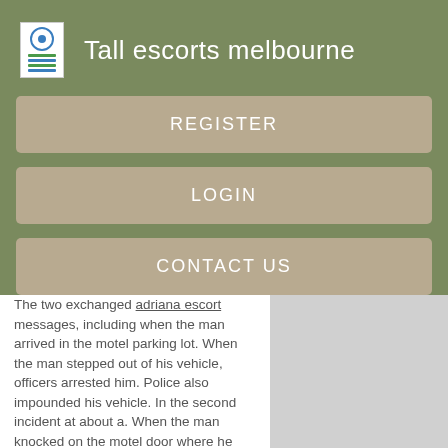Tall escorts melbourne
REGISTER
LOGIN
CONTACT US
The two exchanged adriana escort messages, including when the man arrived in the motel parking lot. When the man stepped out of his vehicle, officers arrested him. Police also impounded his vehicle. In the second incident at about a. When the man knocked on the motel door where he expected to